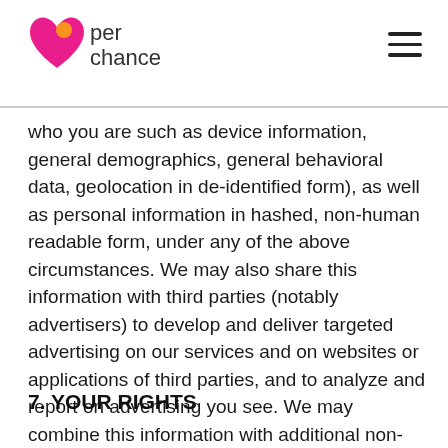per chance
who you are such as device information, general demographics, general behavioral data, geolocation in de-identified form), as well as personal information in hashed, non-human readable form, under any of the above circumstances. We may also share this information with third parties (notably advertisers) to develop and deliver targeted advertising on our services and on websites or applications of third parties, and to analyze and report on advertising you see. We may combine this information with additional non-personal information or personal information in hashed, non-human readable form collected from other sources. .
7. YOUR RIGHTS